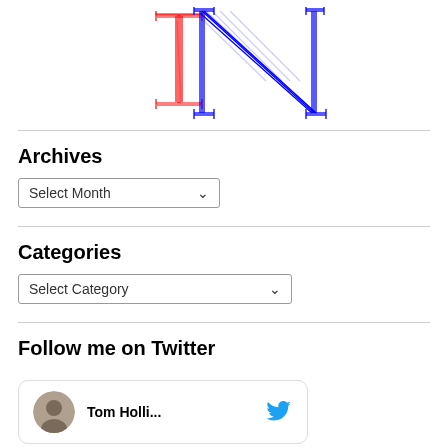[Figure (logo): Stylized letters I and N in red and blue sketch/blueprint style, overlapping]
Archives
Select Month dropdown
Categories
Select Category dropdown
Follow me on Twitter
[Figure (other): Twitter card showing Tom Holli... with avatar photo and Twitter bird icon]